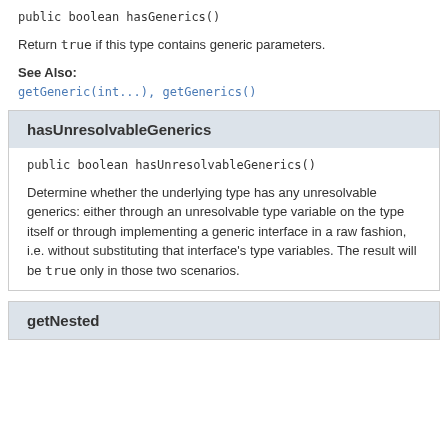public boolean hasGenerics()
Return true if this type contains generic parameters.
See Also:
getGeneric(int...), getGenerics()
hasUnresolvableGenerics
public boolean hasUnresolvableGenerics()
Determine whether the underlying type has any unresolvable generics: either through an unresolvable type variable on the type itself or through implementing a generic interface in a raw fashion, i.e. without substituting that interface's type variables. The result will be true only in those two scenarios.
getNested